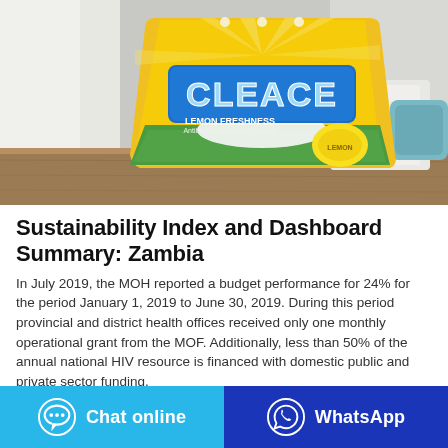[Figure (photo): A yellow bag of Cleace Lemon Freshness antibacterial washing powder sitting on a wooden surface against a light background with curtains.]
Sustainability Index and Dashboard Summary: Zambia
In July 2019, the MOH reported a budget performance for 24% for the period January 1, 2019 to June 30, 2019. During this period provincial and district health offices received only one monthly operational grant from the MOF. Additionally, less than 50% of the annual national HIV resource is financed with domestic public and private sector funding.
Chat online | WhatsApp